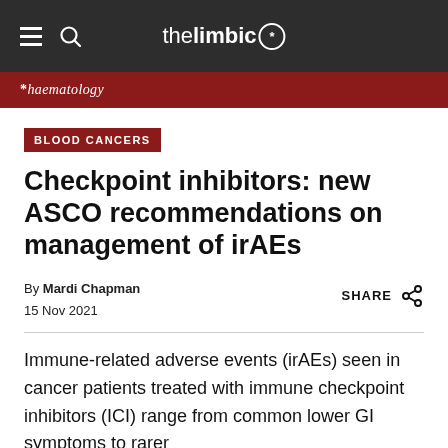the limbic*
* haematology
BLOOD CANCERS
Checkpoint inhibitors: new ASCO recommendations on management of irAEs
By Mardi Chapman
15 Nov 2021
Immune-related adverse events (irAEs) seen in cancer patients treated with immune checkpoint inhibitors (ICI) range from common lower GI symptoms to rarer